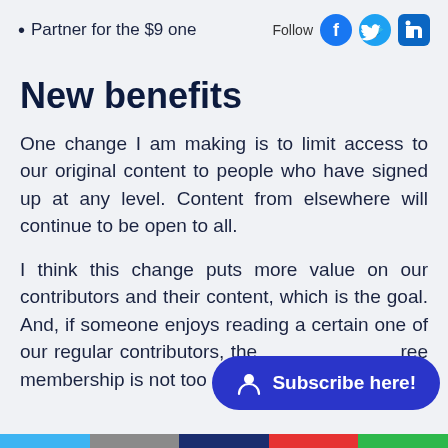Partner for the $9 one
[Figure (logo): Follow icons: Facebook, Twitter, LinkedIn social media buttons]
New benefits
One change I am making is to limit access to our original content to people who have signed up at any level. Content from elsewhere will continue to be open to all.
I think this change puts more value on our contributors and their content, which is the goal. And, if someone enjoys reading a certain one of our regular contributors, the free membership is not too muc
[Figure (other): Subscribe here! button, blue pill-shaped button with user icon]